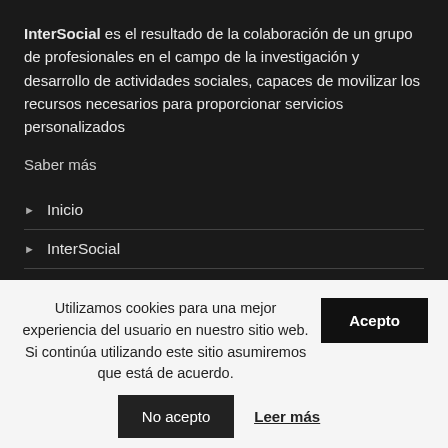InterSocial es el resultado de la colaboración de un grupo de profesionales en el campo de la investigación y desarrollo de actividades sociales, capaces de movilizar los recursos necesarios para proporcionar servicios personalizados
Saber más
▸ Inicio
▸ InterSocial
Utilizamos cookies para una mejor experiencia del usuario en nuestro sitio web. Si continúa utilizando este sitio asumiremos que está de acuerdo.
Acepto
No acepto
Leer más